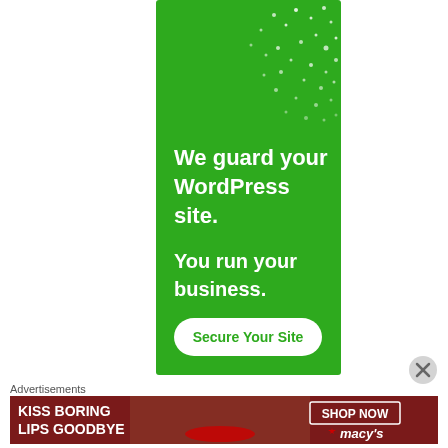[Figure (illustration): Green advertisement banner for WordPress security service. Shows scattered white dots/sparkles on a green background in the upper portion. Text reads 'We guard your WordPress site. You run your business.' with a white button 'Secure Your Site'.]
Advertisements
[Figure (illustration): Macy's advertisement banner with dark red/burgundy background showing a woman's face with red lips. Text reads 'KISS BORING LIPS GOODBYE' on left, 'SHOP NOW' with Macy's star logo on right.]